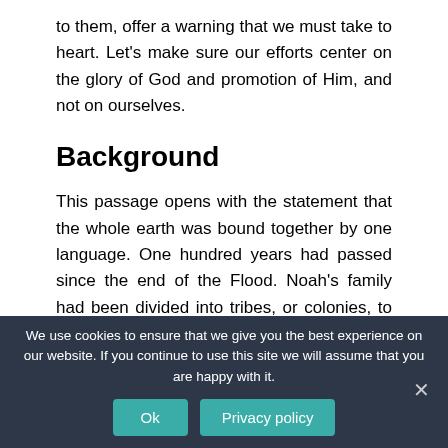to them, offer a warning that we must take to heart. Let’s make sure our efforts center on the glory of God and promotion of Him, and not on ourselves.
Background
This passage opens with the statement that the whole earth was bound together by one language. One hundred years had passed since the end of the Flood. Noah’s family had been divided into tribes, or colonies, to settle in different directions, thus replenishing the other regions of the earth. However, as the
We use cookies to ensure that we give you the best experience on our website. If you continue to use this site we will assume that you are happy with it.